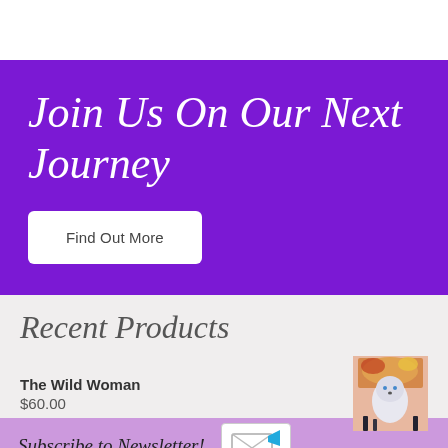Join Us On Our Next Journey
Find Out More
Recent Products
The Wild Woman
$60.00
[Figure (illustration): Product thumbnail image of The Wild Woman - painting of a white wolf/woman figure with colorful background]
Subscribe to Newsletter!